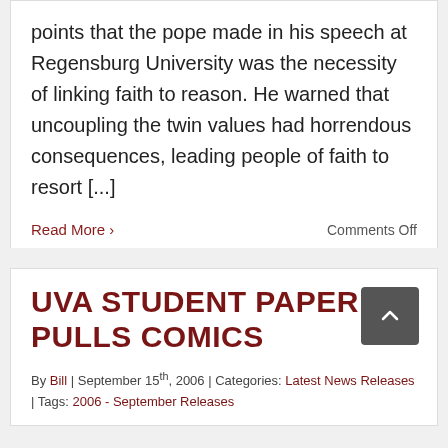points that the pope made in his speech at Regensburg University was the necessity of linking faith to reason. He warned that uncoupling the twin values had horrendous consequences, leading people of faith to resort [...]
Read More › | Comments Off
UVA STUDENT PAPER PULLS COMICS
By Bill | September 15th, 2006 | Categories: Latest News Releases | Tags: 2006 - September Releases